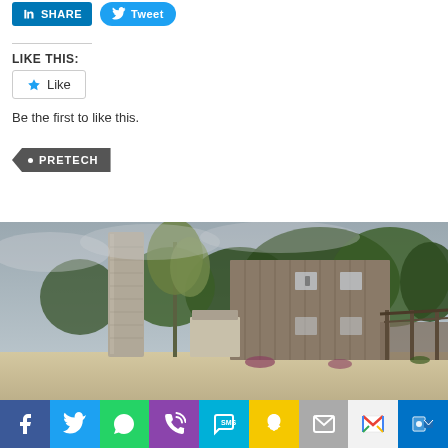[Figure (illustration): LinkedIn Share button and Twitter Tweet button at top]
LIKE THIS:
[Figure (illustration): Like button with star icon]
Be the first to like this.
PRETECH
[Figure (photo): 3D rendering of a rustic wooden building with a silo, trees, and overcast sky]
[Figure (illustration): Social media sharing bar with icons: Facebook, Twitter, WhatsApp, Phone, SMS, Snapchat, Email, Gmail, Outlook]